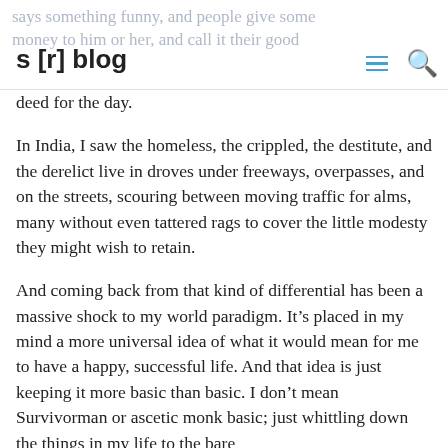s [r] blog
deed for the day.
In India, I saw the homeless, the crippled, the destitute, and the derelict live in droves under freeways, overpasses, and on the streets, scouring between moving traffic for alms, many without even tattered rags to cover the little modesty they might wish to retain.
And coming back from that kind of differential has been a massive shock to my world paradigm. It’s placed in my mind a more universal idea of what it would mean for me to have a happy, successful life. And that idea is just keeping it more basic than basic. I don’t mean Survivorman or ascetic monk basic; just whittling down the things in my life to the bare